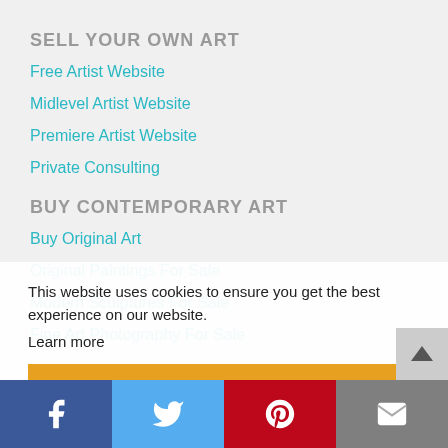SELL YOUR OWN ART
Free Artist Website
Midlevel Artist Website
Premiere Artist Website
Private Consulting
BUY CONTEMPORARY ART
Buy Original Art
Original Paintings For Sale
Modern Sculptures For Sale
Fine Art Photography For Sale
ART MARKETING
Art Marketing Videos
Learn To Sell Your Art Sign Up
This website uses cookies to ensure you get the best experience on our website.
Learn more
[X] Got it!
Facebook | Twitter | Pinterest | Email